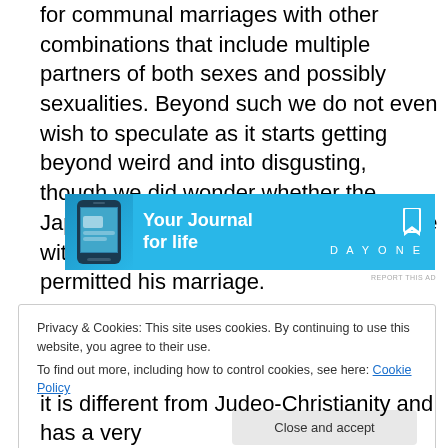for communal marriages with other combinations that include multiple partners of both sexes and possibly sexualities. Beyond such we do not even wish to speculate as it starts getting beyond weird and into disgusting, though we did wonder whether the Japanese man who claimed to be in love with a fine ceramic mannequin was permitted his marriage.
[Figure (screenshot): Advertisement banner for DayOne journal app with a phone image, text 'Your Journal for life', and DayOne logo with bookmark icon on a blue background.]
Privacy & Cookies: This site uses cookies. By continuing to use this website, you agree to their use.
To find out more, including how to control cookies, see here: Cookie Policy
it is different from Judeo-Christianity and has a very